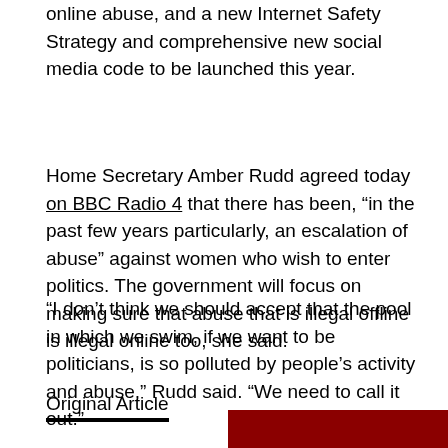online abuse, and a new Internet Safety Strategy and comprehensive new social media code to be launched this year.
Home Secretary Amber Rudd agreed today on BBC Radio 4 that there has been, “in the past few years particularly, an escalation of abuse” against women who wish to enter politics. The government will focus on making sure that abuse that is illegal offline is illegal online too, she said.
“I don’t think we should accept that the pool in which we swim, if we want to be politicians, is so polluted by people’s activity and abuse,” Rudd said. “We need to call it out.”
Original Article
[Figure (other): Dark red/maroon colored bar at the bottom right of the page]